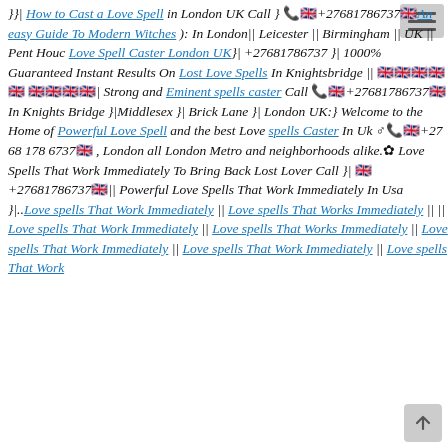}}| How to Cast a Love Spell in London UK Call } 📞🇬🇧+27681786737🇬🇧An easy Guide To Modern Witches ): In London|| Leicester || Birmingham || UK || Pent Houc Love Spell Caster London UK}| +27681786737 }| 1000% Guaranteed Instant Results On Lost Love Spells In Knightsbridge || 🇬🇧🇬🇧🇬🇧🇬🇧🇬🇧 🇬🇧🇬🇧🇬🇧🇬🇧| Strong and Eminent spells caster Call 📞🇬🇧+27681786737🇬🇧In Knights Bridge }|Middlesex }| Brick Lane }| London UK:} Welcome to the Home of Powerful Love Spell and the best Love spells Caster In Uk ♂📞🇬🇧+27 68 178 6737🇬🇧 , London all London Metro and neighborhoods alike.✿ Love Spells That Work Immediately To Bring Back Lost Lover Call }| 🇬🇧+27681786737🇬🇧|| Powerful Love Spells That Work Immediately In Usa }|.. Love spells That Work Immediately || Love spells That Works Immediately || || Love spells That Work Immediately || Love spells That Works Immediately || Love spells That Work Immediately || Love spells That Work Immediately || Love spells That Work